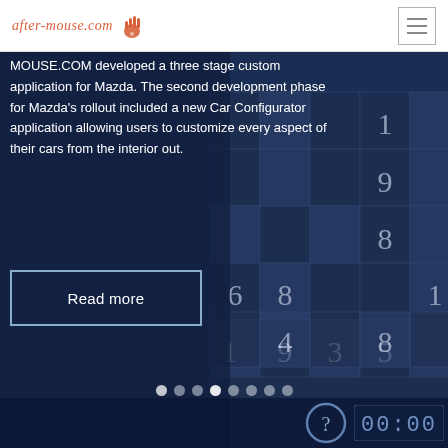after-mouse.com
MOUSE.COM developed a three stage custom application for Mazda. The second development phase for Mazda's rollout included a new Car Configurator application allowing users to customize every aspect of their cars from the interior out.
Read more
[Figure (screenshot): Sudoku grid app screenshot with dark blue background showing numbers in grid cells]